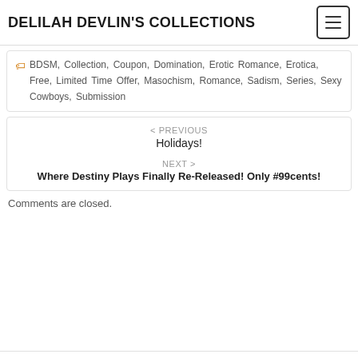DELILAH DEVLIN'S COLLECTIONS
BDSM, Collection, Coupon, Domination, Erotic Romance, Erotica, Free, Limited Time Offer, Masochism, Romance, Sadism, Series, Sexy Cowboys, Submission
< PREVIOUS
Holidays!
NEXT >
Where Destiny Plays Finally Re-Released! Only #99cents!
Comments are closed.